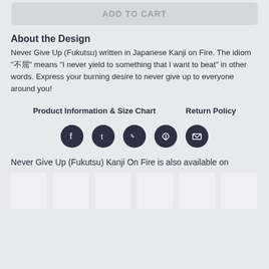[Figure (screenshot): ADD TO CART button bar, greyed out]
About the Design
Never Give Up (Fukutsu) written in Japanese Kanji on Fire. The idiom "不屈" means "I never yield to something that I want to beat" in other words. Express your burning desire to never give up to everyone around you!
Product Information & Size Chart     Return Policy
[Figure (infographic): Social media share icons: Facebook, Tumblr, Twitter, Pinterest, Email]
Never Give Up (Fukutsu) Kanji On Fire is also available on
[Figure (screenshot): Row of 6 product thumbnail images (blank/light grey placeholders)]